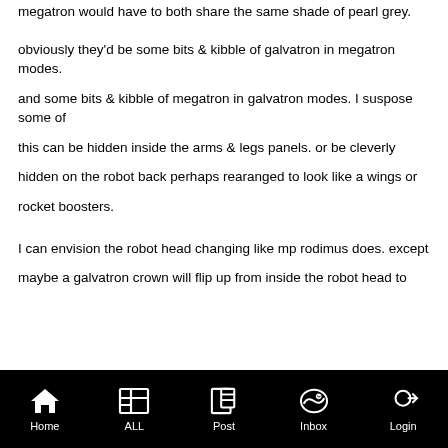megatron would have to both share the same shade of pearl grey.
obviously they'd be some bits & kibble of galvatron in megatron modes.
and some bits & kibble of megatron in galvatron modes. I suspose some of
this can be hidden inside the arms & legs panels. or be cleverly
hidden on the robot back perhaps rearanged to look like a wings or
rocket boosters.
I can envision the robot head changing like mp rodimus does. except
maybe a galvatron crown will flip up from inside the robot head to
Home  ALL  Post  Inbox  Login